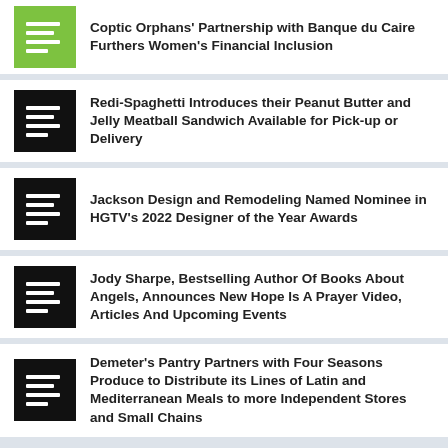Coptic Orphans' Partnership with Banque du Caire Furthers Women's Financial Inclusion
Redi-Spaghetti Introduces their Peanut Butter and Jelly Meatball Sandwich Available for Pick-up or Delivery
Jackson Design and Remodeling Named Nominee in HGTV's 2022 Designer of the Year Awards
Jody Sharpe, Bestselling Author Of Books About Angels, Announces New Hope Is A Prayer Video, Articles And Upcoming Events
Demeter's Pantry Partners with Four Seasons Produce to Distribute its Lines of Latin and Mediterranean Meals to more Independent Stores and Small Chains